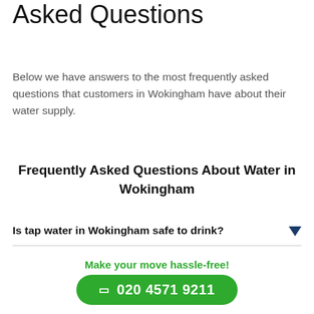Asked Questions
Below we have answers to the most frequently asked questions that customers in Wokingham have about their water supply.
Frequently Asked Questions About Water in Wokingham
Is tap water in Wokingham safe to drink?
Where does the water in Wokingham come
Make your move hassle-free!
020 4571 9211